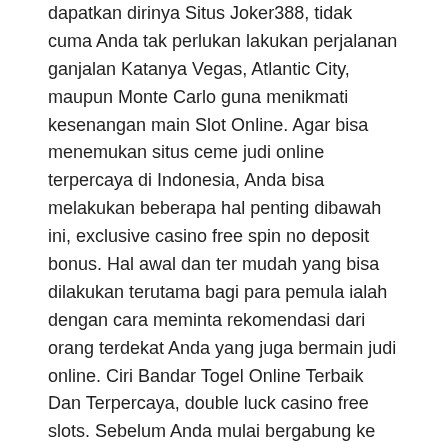dapatkan dirinya Situs Joker388, tidak cuma Anda tak perlukan lakukan perjalanan ganjalan Katanya Vegas, Atlantic City, maupun Monte Carlo guna menikmati kesenangan main Slot Online. Agar bisa menemukan situs ceme judi online terpercaya di Indonesia, Anda bisa melakukan beberapa hal penting dibawah ini, exclusive casino free spin no deposit bonus. Hal awal dan ter mudah yang bisa dilakukan terutama bagi para pemula ialah dengan cara meminta rekomendasi dari orang terdekat Anda yang juga bermain judi online. Ciri Bandar Togel Online Terbaik Dan Terpercaya, double luck casino free slots. Sebelum Anda mulai bergabung ke salah satu bandar togel online yang ada di internet. Looking for casinos with No Deposit Bonuses that allow you to Keep Your Winn, double luck casino free slots. We have the Latest Real Money No Deposit Bonus offers for Leading Online Casinos. Ilmu ampuh,